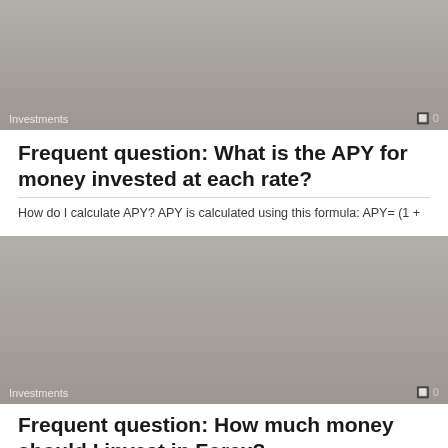[Figure (photo): Gray placeholder image for Investments article with label 'Investments' and count '0' at bottom]
Frequent question: What is the APY for money invested at each rate?
How do I calculate APY? APY is calculated using this formula: APY= (1 +
[Figure (photo): Gray placeholder image for Investments article with label 'Investments' and count '0' at bottom]
Frequent question: How much money should I invest in Forex?